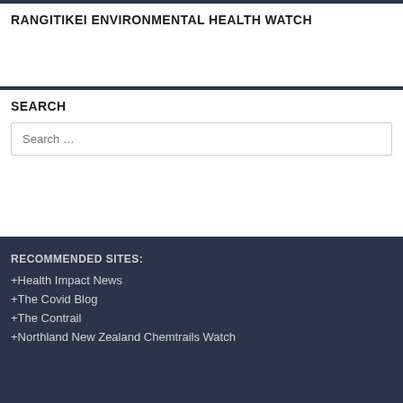RANGITIKEI ENVIRONMENTAL HEALTH WATCH
SEARCH
Search …
RECOMMENDED SITES:
+Health Impact News
+The Covid Blog
+The Contrail
+Northland New Zealand Chemtrails Watch